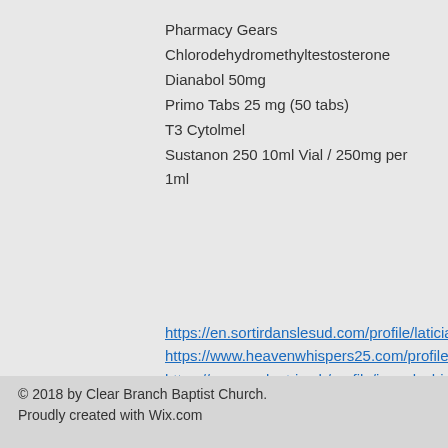Pharmacy Gears
Chlorodehydromethyltestosterone
Dianabol 50mg
Primo Tabs 25 mg (50 tabs)
T3 Cytolmel
Sustanon 250 10ml Vial / 250mg per 1ml
https://en.sortirdanslesud.com/profile/laticialunney785445/profile https://www.heavenwhispers25.com/profile/tomekamattera638742/profile https://en.grandpatria.ch/profile/jaquelynhiganeda46471/profile https://www.fitness-mirror.com/profile/tandylucic1587490/profile
© 2018 by Clear Branch Baptist Church. Proudly created with Wix.com